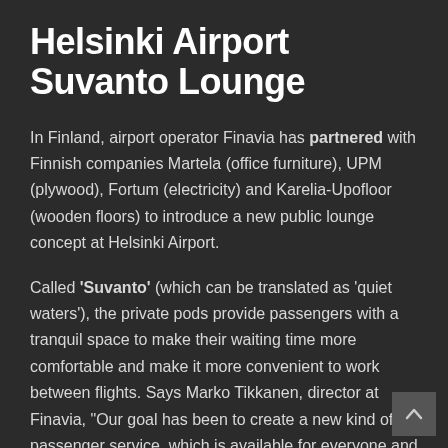Helsinki Airport Suvanto Lounge
In Finland, airport operator Finavia has partnered with Finnish companies Martela (office furniture), UPM (plywood), Fortum (electricity) and Karelia-Upofloor (wooden floors) to introduce a new public lounge concept at Helsinki Airport.
Called 'Suvanto' (which can be translated as 'quiet waters'), the private pods provide passengers with a tranquil space to make their waiting time more comfortable and make it more convenient to work between flights. Says Marko Tikkanen, director at Finavia, “Our goal has been to create a new kind of passenger service, which is available for everyone and meets the challenges of the changing passenger culture.”